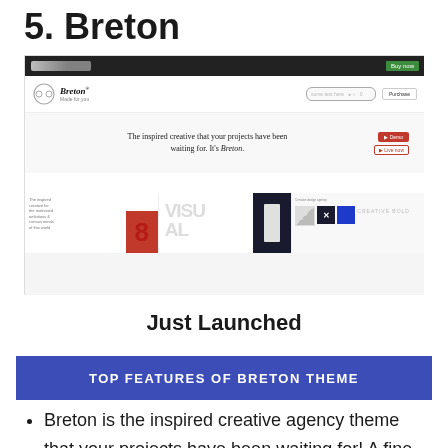5. Breton
[Figure (screenshot): Screenshot of the Breton WordPress theme on Envato market. Shows a dark navigation bar at top, white header with the Breton logo and 'Made for you' tagline, hero section with text 'The inspired creative that your projects have been waiting for. It’s Breton.' and call-to-action buttons, followed by a portfolio grid showcasing visual design work including images with bold typography.]
Just Launched
TOP FEATURES OF BRETON THEME
Breton is the inspired creative agency theme that your projects have been waiting for! A fine selection of beautiful, modern &